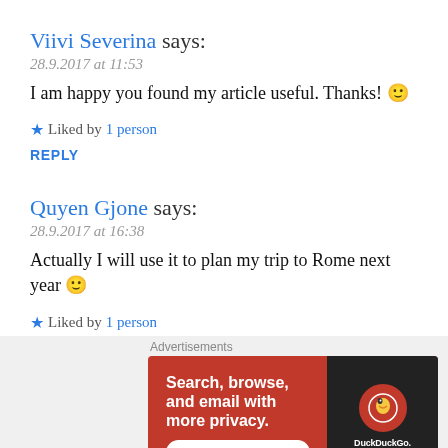Viivi Severina says:
28.9.2017 at 11:53
I am happy you found my article useful. Thanks! 🙂
★ Liked by 1 person
REPLY
Quyen Gjone says:
28.9.2017 at 16:38
Actually I will use it to plan my trip to Rome next year 🙂
★ Liked by 1 person
[Figure (screenshot): DuckDuckGo advertisement banner showing 'Search, browse, and email with more privacy. All in One Free App' with a phone displaying the DuckDuckGo app logo on an orange-red background.]